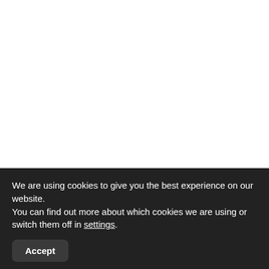We are using cookies to give you the best experience on our website.
You can find out more about which cookies we are using or switch them off in settings.
Accept